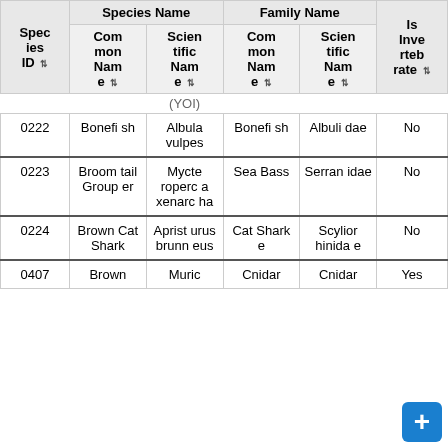| Species ID | Common Name | Scientific Name | Common Name | Scientific Name | Is Invertebrate |
| --- | --- | --- | --- | --- | --- |
|  |  | (YOI) |  |  |  |
| 0222 | Bonefish | Albula vulpes | Bonefish | Albulidae | No |
| 0223 | Broomtail Grouper | Mycteroperca xenarcha | Sea Bass | Serranidae | No |
| 0224 | Brown Cat Shark | Apristurus brunneus | Cat Shark | Scyliorhindae | No |
| 0407 | Brown | Muric | Cnidar | Cnidar | Yes |